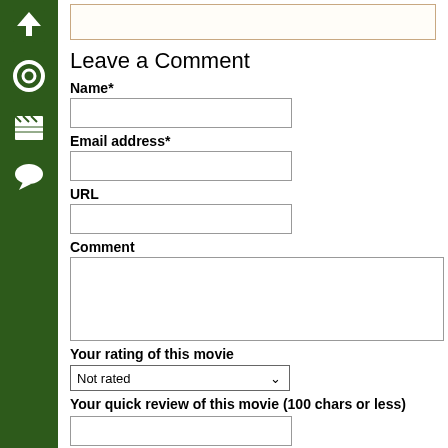[Figure (infographic): Green sidebar with icons: up arrow, circle/record button, movie clapperboard, speech bubble/comment icon]
Leave a Comment
Name*
Email address*
URL
Comment
Your rating of this movie
Not rated
Your quick review of this movie (100 chars or less)